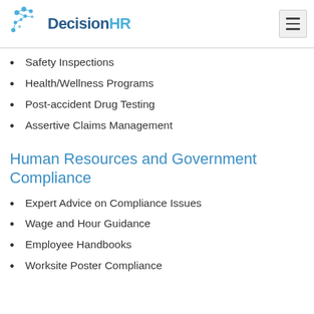DecisionHR
Safety Inspections
Health/Wellness Programs
Post-accident Drug Testing
Assertive Claims Management
Human Resources and Government Compliance
Expert Advice on Compliance Issues
Wage and Hour Guidance
Employee Handbooks
Worksite Poster Compliance